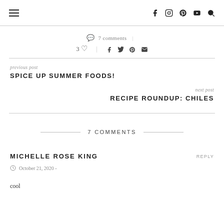Navigation bar with hamburger menu and social icons (facebook, instagram, pinterest, youtube, search)
7 comments
3 likes, share icons: facebook, twitter, pinterest, email
previous post
SPICE UP SUMMER FOODS!
next post
RECIPE ROUNDUP: CHILES
7 COMMENTS
MICHELLE ROSE KING
October 21, 2020 -
cool